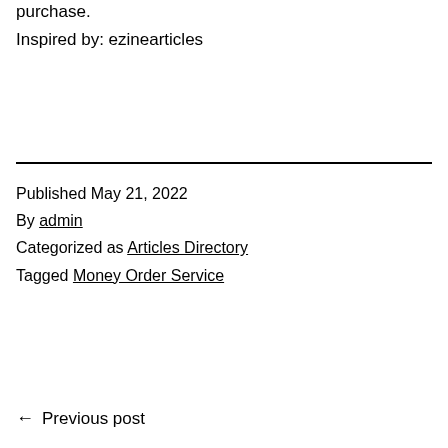purchase.
Inspired by: ezinearticles
Published May 21, 2022
By admin
Categorized as Articles Directory
Tagged Money Order Service
← Previous post